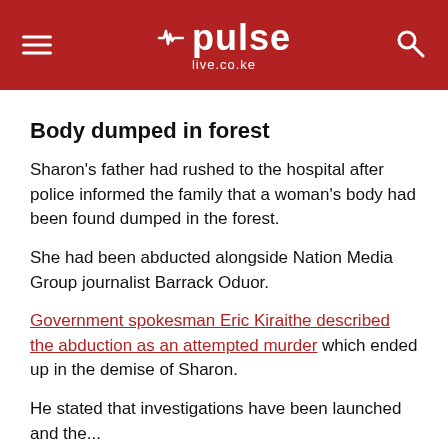pulse live.co.ke
Body dumped in forest
Sharon's father had rushed to the hospital after police informed the family that a woman's body had been found dumped in the forest.
She had been abducted alongside Nation Media Group journalist Barrack Oduor.
Government spokesman Eric Kiraithe described the abduction as an attempted murder which ended up in the demise of Sharon.
He stated that investigations have been launched and the...